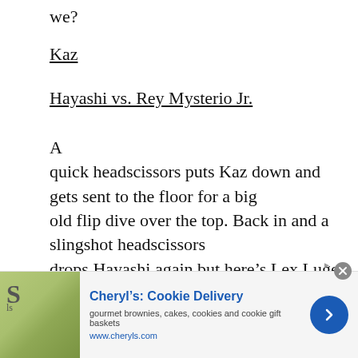we?
Kaz
Hayashi vs. Rey Mysterio Jr.
A quick headscissors puts Kaz down and gets sent to the floor for a big old flip dive over the top. Back in and a slingshot headscissors drops Hayashi again but here’s Lex Luger to attack Kaz for the DQ after less than two minutes. Luger wants to know why Rey didn’t take the shirt off and decks the “helpless” Rey (Tony’s word as Rey was standing there
[Figure (other): Advertisement banner for Cheryl's Cookie Delivery showing gourmet brownies, cakes, cookies and cookie gift baskets with URL www.cheryls.com]